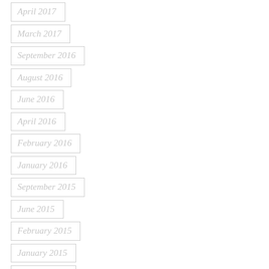April 2017
March 2017
September 2016
August 2016
June 2016
April 2016
February 2016
January 2016
September 2015
June 2015
February 2015
January 2015
October 2014
August 2014
July 2014